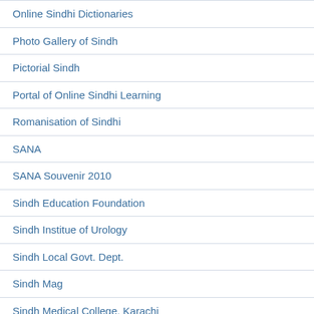Online Sindhi Dictionaries
Photo Gallery of Sindh
Pictorial Sindh
Portal of Online Sindhi Learning
Romanisation of Sindhi
SANA
SANA Souvenir 2010
Sindh Education Foundation
Sindh Institue of Urology
Sindh Local Govt. Dept.
Sindh Mag
Sindh Medical College, Karachi